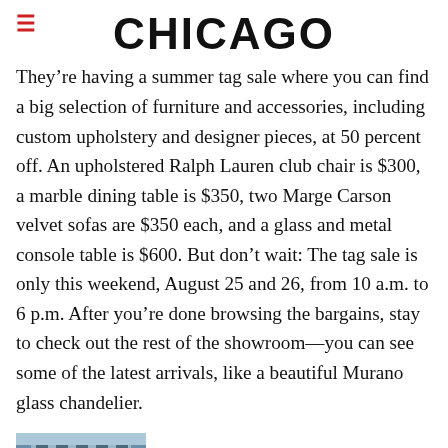CHICAGO
They’re having a summer tag sale where you can find a big selection of furniture and accessories, including custom upholstery and designer pieces, at 50 percent off. An upholstered Ralph Lauren club chair is $300, a marble dining table is $350, two Marge Carson velvet sofas are $350 each, and a glass and metal console table is $600. But don’t wait: The tag sale is only this weekend, August 25 and 26, from 10 a.m. to 6 p.m. After you’re done browsing the bargains, stay to check out the rest of the showroom—you can see some of the latest arrivals, like a beautiful Murano glass chandelier.
[Figure (photo): Small thumbnail photo of a building exterior]
Peachy Keen